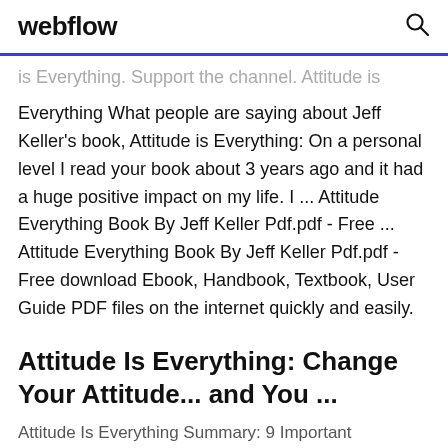webflow
is Everything. Support the channel. Attitude is Everything What people are saying about Jeff Keller's book, Attitude is Everything: On a personal level I read your book about 3 years ago and it had a huge positive impact on my life. I ... Attitude Everything Book By Jeff Keller Pdf.pdf - Free ... Attitude Everything Book By Jeff Keller Pdf.pdf - Free download Ebook, Handbook, Textbook, User Guide PDF files on the internet quickly and easily.
Attitude Is Everything: Change Your Attitude... and You ...
Attitude Is Everything Summary: 9 Important